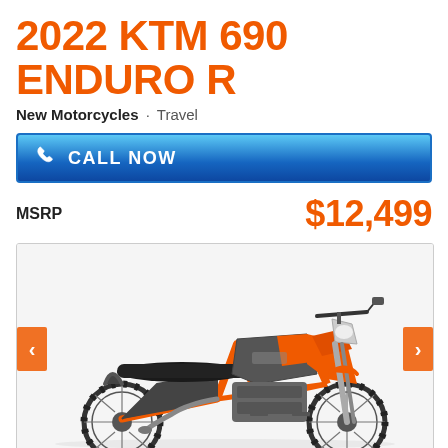2022 KTM 690 ENDURO R
New Motorcycles · Travel
CALL NOW
MSRP $12,499
[Figure (photo): 2022 KTM 690 Enduro R motorcycle in orange and black/grey color scheme, side profile view, with navigation arrows on left and right sides of image container]